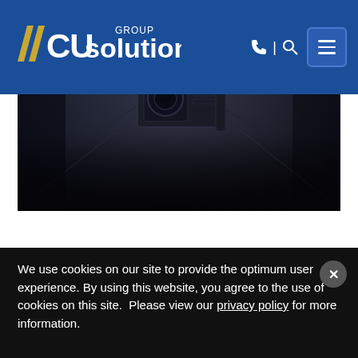CU Solutions Group
[Figure (photo): Dark overhead shot of a professional video camera rig mounted on a rail or ceiling in a dim studio/corridor setting]
We use cookies on our site to provide the optimum user experience. By using this website, you agree to the use of cookies on this site.  Please view our privacy policy for more information.